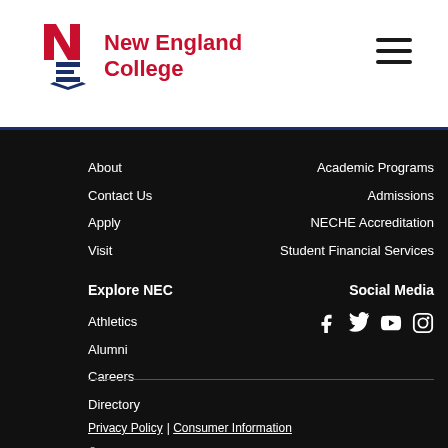[Figure (logo): New England College logo with NE initials icon and text]
About
Contact Us
Apply
Visit
Academic Programs
Admissions
NECHE Accreditation
Student Financial Services
Explore NEC
Athletics
Alumni
Careers
Directory
Social Media
[Figure (other): Social media icons: Facebook, Twitter, YouTube, Instagram]
Privacy Policy | Consumer Information
© 2022